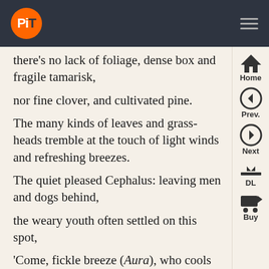PiT logo and navigation bar
there’s no lack of foliage, dense box and fragile tamarisk,
nor fine clover, and cultivated pine.
The many kinds of leaves and grass-heads tremble at the touch of light winds and refreshing breezes.
The quiet pleased Cephalus: leaving men and dogs behind,
the weary youth often settled on this spot,
‘Come, fickle breeze (Aura), who cools my heat’
he used to sing, ‘be welcome to my breast.’
Some officious person, evilly remembering what